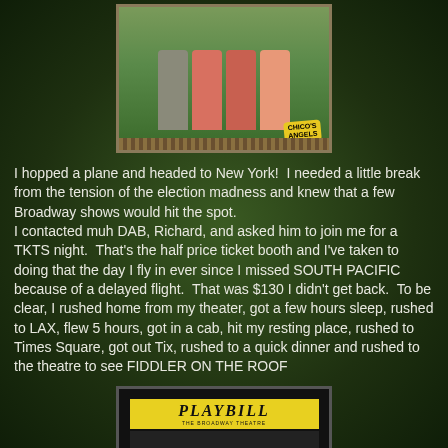[Figure (photo): Photo of performers for Chico's Angels show — people in colorful outfits holding sticks/props, with a yellow Chico's Angels logo sign in the lower right corner. Photo has a decorative border at the bottom.]
I hopped a plane and headed to New York!  I needed a little break from the tension of the election madness and knew that a few Broadway shows would hit the spot.
I contacted muh DAB, Richard, and asked him to join me for a TKTS night.  That's the half price ticket booth and I've taken to doing that the day I fly in ever since I missed SOUTH PACIFIC because of a delayed flight.  That was $130 I didn't get back.  To be clear, I rushed home from my theater, got a few hours sleep, rushed to LAX, flew 5 hours, got in a cab, hit my resting place, rushed to Times Square, got out Tix, rushed to a quick dinner and rushed to the theatre to see FIDDLER ON THE ROOF
[Figure (photo): Playbill program for a Broadway theatre production — yellow Playbill banner on black background with 'THE BROADWAY THEATRE' subtitle text and a performer image below.]